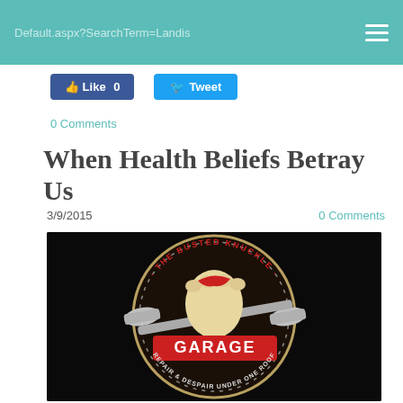Default.aspx?SearchTerm=Landis
Like 0
Tweet
0 Comments
When Health Beliefs Betray Us
3/9/2015
0 Comments
[Figure (photo): The Busted Knuckle Garage logo on a black circular patch: a fist holding a wrench, text reading 'THE BUSTED KNUCKLE GARAGE' around the top and 'REPAIR & DESPAIR UNDER ONE ROOF' around the bottom]